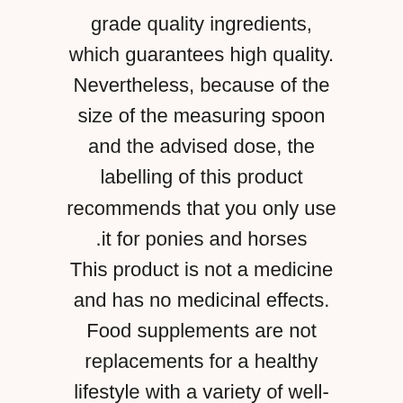grade quality ingredients, which guarantees high quality. Nevertheless, because of the size of the measuring spoon and the advised dose, the labelling of this product recommends that you only use it for ponies and horses. This product is not a medicine and has no medicinal effects. Food supplements are not replacements for a healthy lifestyle with a variety of well-balanced food. Therefore, if your horse is sick or has a